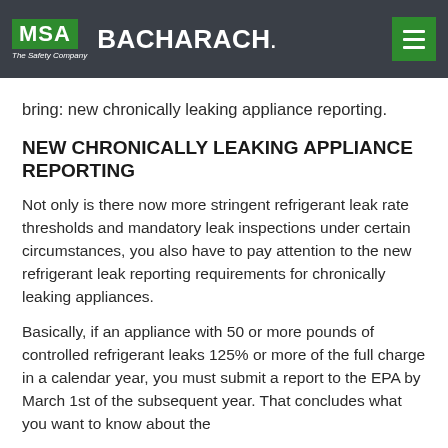MSA The Safety Company | BACHARACH.
bring: new chronically leaking appliance reporting.
NEW CHRONICALLY LEAKING APPLIANCE REPORTING
Not only is there now more stringent refrigerant leak rate thresholds and mandatory leak inspections under certain circumstances, you also have to pay attention to the new refrigerant leak reporting requirements for chronically leaking appliances.
Basically, if an appliance with 50 or more pounds of controlled refrigerant leaks 125% or more of the full charge in a calendar year, you must submit a report to the EPA by March 1st of the subsequent year. That concludes what you want to know about the